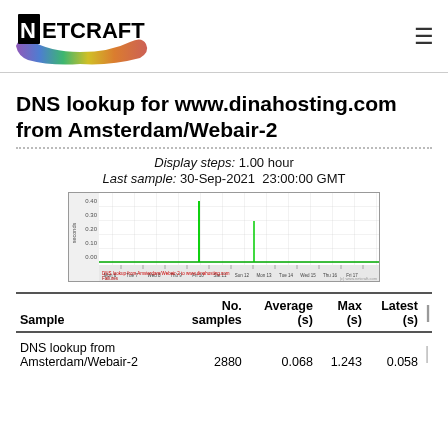Netcraft
DNS lookup for www.dinahosting.com from Amsterdam/Webair-2
Display steps: 1.00 hour
Last sample: 30-Sep-2021  23:00:00 GMT
[Figure (continuous-plot): Time-series line chart showing DNS lookup times from Amsterdam/Webair-2 to www.dinahosting.com. Y-axis shows seconds (0 to 0.4+), X-axis shows dates. A mostly flat green line near zero with two notable spikes around mid-period.]
| Sample | No. samples | Average (s) | Max (s) | Latest (s) |
| --- | --- | --- | --- | --- |
| DNS lookup from Amsterdam/Webair-2 | 2880 | 0.068 | 1.243 | 0.058 |